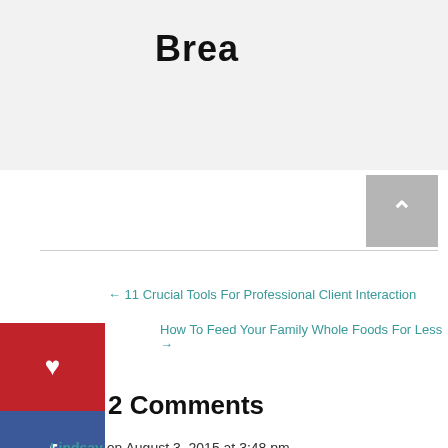Brea
← 11 Crucial Tools For Professional Client Interaction
How To Feed Your Family Whole Foods For Less →
2 Comments
Lindsay on August 3, 2015 at 3:48 pm
It's okay to fall off now and again, the important part is recognizing where you went wrong, and getting back on a positive track.